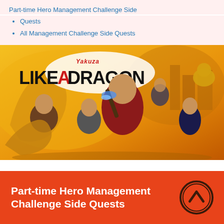Part-time Hero Management Challenge Side Quests
Quests
All Management Challenge Side Quests
[Figure (photo): Yakuza: Like a Dragon game cover art showing protagonist in red jacket holding a glowing bat surrounded by other characters on a golden background]
Part-time Hero Management Challenge Side Quests